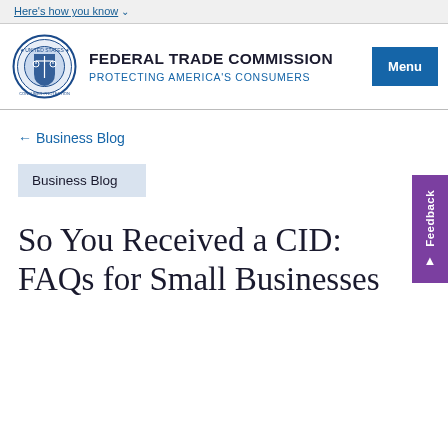Here's how you know
[Figure (logo): Federal Trade Commission circular seal with scales of justice]
FEDERAL TRADE COMMISSION
PROTECTING AMERICA'S CONSUMERS
Menu
← Business Blog
Feedback
Business Blog
So You Received a CID: FAQs for Small Businesses